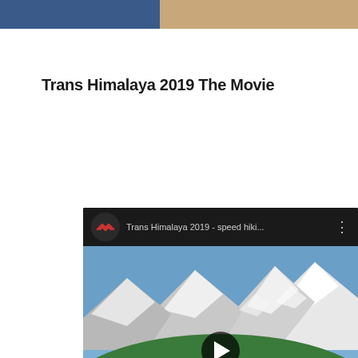[Figure (photo): Top banner strip with blue section on left and tan/beige section on right]
Trans Himalaya 2019 The Movie
[Figure (screenshot): YouTube video embed showing Trans Himalaya 2019 - speed hiki... with mountain landscape thumbnail, campfire scene, and yellow italic title text 'Trans Himalaya 2019' with a play button overlay]